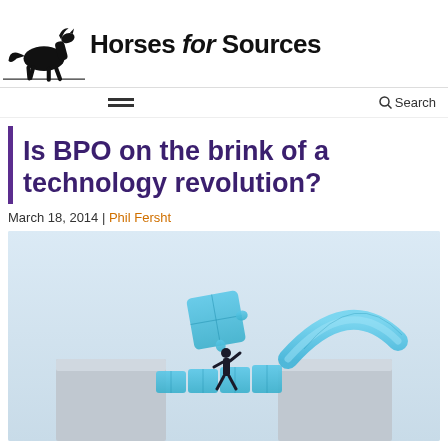Horses for Sources
Is BPO on the brink of a technology revolution?
March 18, 2014 | Phil Fersht
[Figure (illustration): A person running across a bridge made of blue puzzle pieces, carrying a puzzle piece, with a curved arch of blue puzzle pieces in the background, set against a light blue-grey sky with grey stepped platforms.]